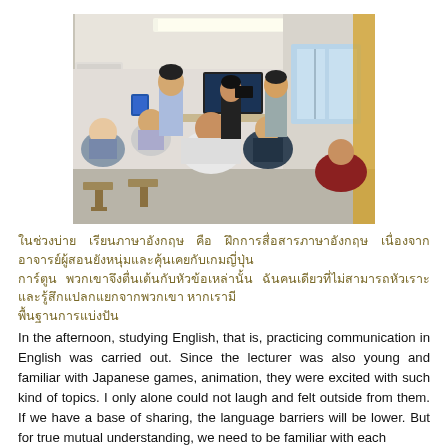[Figure (photo): Classroom scene with students seated at desks viewed from behind, and a standing student at the front facing others who appear to be filming or presenting, in a modern classroom with fluorescent lighting and windows.]
ในช่วงบ่าย เรียนภาษาอังกฤษ ฝึกการสนทนาภาษาอังกฤษ เนื่องจากอาจารย์ผู้สอนก็ยังหนุ่มและคุ้นเคยกับเกมญี่ปุ่น การ์ตูน พวกเขาจึงตื่นเต้นกับหัวข้อดังกล่าว ฉันเพียงคนเดียวไม่สามารถหัวเราะและรู้สึกแปลกแยกจากพวกเขา
In the afternoon, studying English, that is, practicing communication in English was carried out. Since the lecturer was also young and familiar with Japanese games, animation, they were excited with such kind of topics. I only alone could not laugh and felt outside from them. If we have a base of sharing, the language barriers will be lower. But for true mutual understanding, we need to be familiar with each